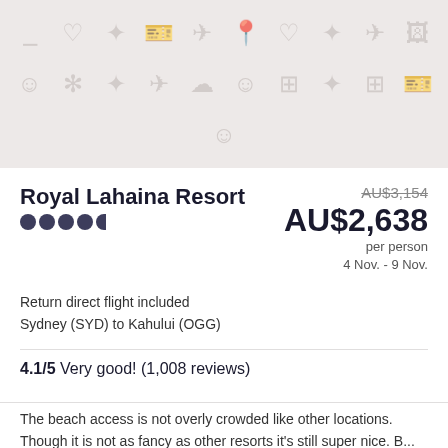[Figure (illustration): Beige/grey placeholder image with travel-themed icons (smiley faces, stars, airplanes, tickets, hearts, map pins) on a light background]
Royal Lahaina Resort
AU$3,154 (strikethrough original price) AU$2,638 per person 4 Nov. - 9 Nov.
Return direct flight included
Sydney (SYD) to Kahului (OGG)
4.1/5 Very good! (1,008 reviews)
The beach access is not overly crowded like other locations. Though it is not as fancy as other resorts it's still super nice. B...
Reviewed on 18 Aug. 2022
[Figure (illustration): Partial beige/grey strip with travel-themed icons at the bottom of the page]